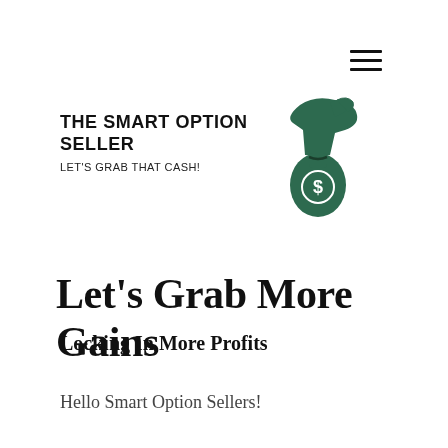[Figure (logo): Hamburger menu icon (three horizontal lines) in top right corner]
THE SMART OPTION SELLER
LET'S GRAB THAT CASH!
[Figure (illustration): Green illustrated hand grabbing a money bag with dollar sign]
Let's Grab More Gains
Locking In More Profits
Hello Smart Option Sellers!